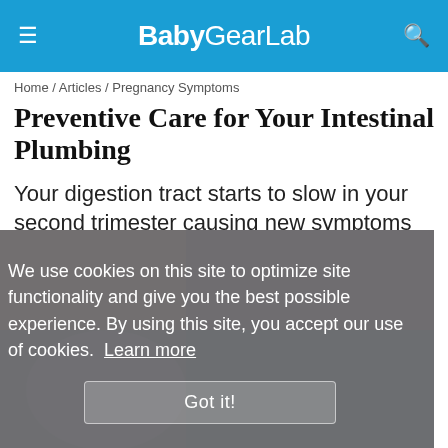BabyGearLab
Home / Articles / Pregnancy Symptoms
Preventive Care for Your Intestinal Plumbing
Your digestion tract starts to slow in your second trimester causing new symptoms
[Figure (photo): A pregnant woman touching her abdomen, background image partially obscured by a cookie consent overlay.]
We use cookies on this site to optimize site functionality and give you the best possible experience. By using this site, you accept our use of cookies. Learn more
Got it!